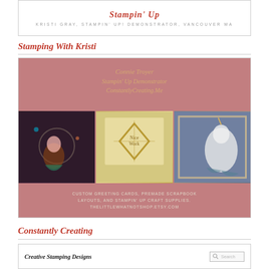[Figure (illustration): Blog banner for Stampin' Up demonstrator Kristi Gray, Vancouver WA]
Stamping With Kristi
[Figure (illustration): Banner image for Connie Troyer, Stampin' Up Demonstrator, ConstantlyCreating.Me — featuring three craft cards: a mermaid scene, a gold diamond pattern card, and a unicorn painting. Custom greeting cards, premade scrapbook layouts, and Stampin' Up craft supplies. thelittlewhatnotshop.etsy.com]
Constantly Creating
[Figure (screenshot): Creative Stamping Designs blog widget with search box]